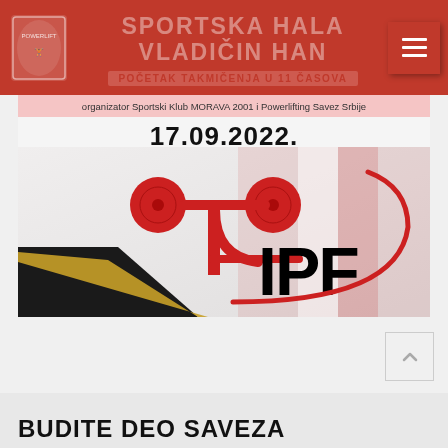SPORTSKA HALA VLADIČIN HAN
POČETAK TAKMIČENJA U 11 ČASOVA
organizator Sportski Klub MORAVA 2001 i Powerlifting Savez Srbije
17.09.2022.
[Figure (logo): IPF powerlifting logo with dumbbell graphic on red and black background]
BUDITE DEO SAVEZA